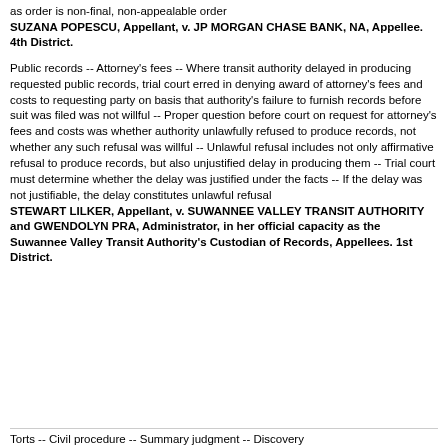as order is non-final, non-appealable order
SUZANA POPESCU, Appellant, v. JP MORGAN CHASE BANK, NA, Appellee. 4th District.
Public records -- Attorney's fees -- Where transit authority delayed in producing requested public records, trial court erred in denying award of attorney's fees and costs to requesting party on basis that authority's failure to furnish records before suit was filed was not willful -- Proper question before court on request for attorney's fees and costs was whether authority unlawfully refused to produce records, not whether any such refusal was willful -- Unlawful refusal includes not only affirmative refusal to produce records, but also unjustified delay in producing them -- Trial court must determine whether the delay was justified under the facts -- If the delay was not justifiable, the delay constitutes unlawful refusal
STEWART LILKER, Appellant, v. SUWANNEE VALLEY TRANSIT AUTHORITY and GWENDOLYN PRA, Administrator, in her official capacity as the Suwannee Valley Transit Authority's Custodian of Records, Appellees. 1st District.
Torts -- Civil procedure -- Summary judgment -- Discovery